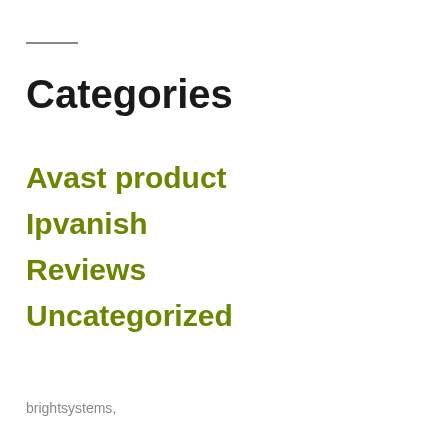Categories
Avast product
Ipvanish
Reviews
Uncategorized
brightsystems,